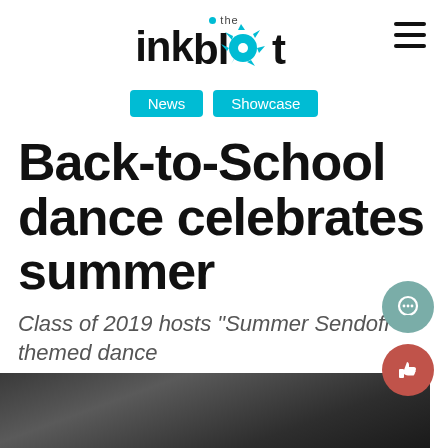the inkblot
News
Showcase
Back-to-School dance celebrates summer
Class of 2019 hosts “Summer Sendoff” themed dance
[Figure (photo): Dark photo strip at the bottom showing people at a dance event]